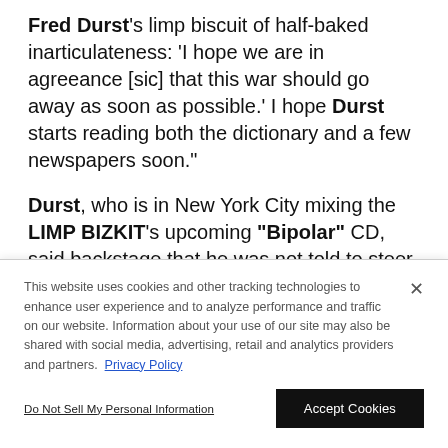Fred Durst's limp biscuit of half-baked inarticulateness: 'I hope we are in agreeance [sic] that this war should go away as soon as possible.' I hope Durst starts reading both the dictionary and a few newspapers soon."
Durst, who is in New York City mixing the LIMP BIZKIT's upcoming "Bipolar" CD, said backstage that he was not told to steer clear of the war...
This website uses cookies and other tracking technologies to enhance user experience and to analyze performance and traffic on our website. Information about your use of our site may also be shared with social media, advertising, retail and analytics providers and partners. Privacy Policy
Do Not Sell My Personal Information
Accept Cookies